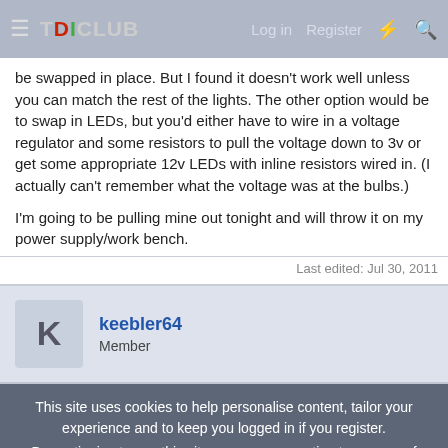TDICLUB — Log in | Register
be swapped in place. But I found it doesn't work well unless you can match the rest of the lights. The other option would be to swap in LEDs, but you'd either have to wire in a voltage regulator and some resistors to pull the voltage down to 3v or get some appropriate 12v LEDs with inline resistors wired in. (I actually can't remember what the voltage was at the bulbs.)

I'm going to be pulling mine out tonight and will throw it on my power supply/work bench.
Last edited: Jul 30, 2011
keebler64
Member
This site uses cookies to help personalise content, tailor your experience and to keep you logged in if you register.
By continuing to use this site, you are consenting to our use of cookies.